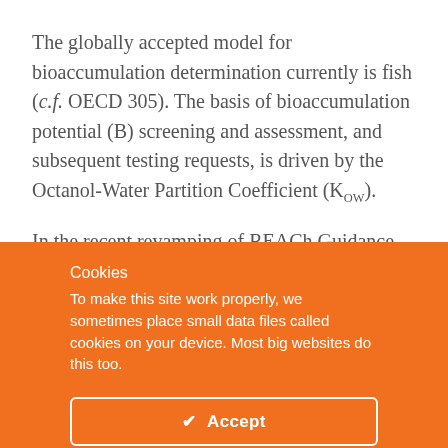The globally accepted model for bioaccumulation determination currently is fish (c.f. OECD 305). The basis of bioaccumulation potential (B) screening and assessment, and subsequent testing requests, is driven by the Octanol-Water Partition Coefficient (KOW).
In the recent revamping of REACh Guidance Chapter R11: PBT / vPvB Assessment (latest version at time of writing
Cookies
To make this site work properly, we sometimes place small data files called cookies on your device. Most big websites do this too.
✔ Accept